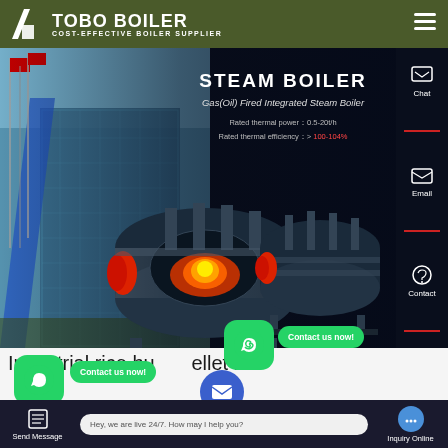TOBO BOILER — COST-EFFECTIVE BOILER SUPPLIER
[Figure (screenshot): Steam boiler product banner showing two industrial steam boilers (Gas/Oil Fired Integrated Steam Boiler) on dark background with building photo on left. Text: STEAM BOILER, Gas(Oil) Fired Integrated Steam Boiler, Rated thermal power: 0.5-20t/h, Rated thermal efficiency: >100-104%]
Industrial rice husk pellet boiler
Contact us now!
Hey, we are live 24/7. How may I help you?
Send Message | Inquiry Online